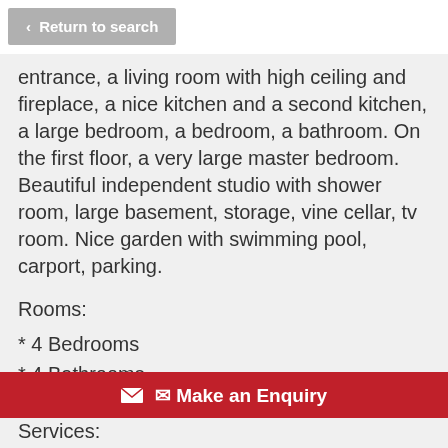< Return to search
entrance, a living room with high ceiling and fireplace, a nice kitchen and a second kitchen, a large bedroom, a bedroom, a bathroom. On the first floor, a very large master bedroom. Beautiful independent studio with shower room, large basement, storage, vine cellar, tv room. Nice garden with swimming pool, carport, parking.
Rooms:
* 4 Bedrooms
* 4 Bathrooms
* 1400 m2 Garden
Make an Enquiry
Services: